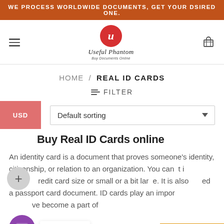WE PROCESS WORLDWIDE DOCUMENTS, GET YOUR DSIRED ONE.
[Figure (logo): Useful Phantom logo with red circle containing stylized U and cursive brand name]
HOME / REAL ID CARDS
≡ FILTER
USD
Default sorting
Buy Real ID Cards online
An identity card is a document that proves someone's identity, citizenship, or relation to an organization. You can get it in credit card size or small or a bit large size. It is also called a passport card document. ID cards play an important role and have become a part of
Contact us
Translate »